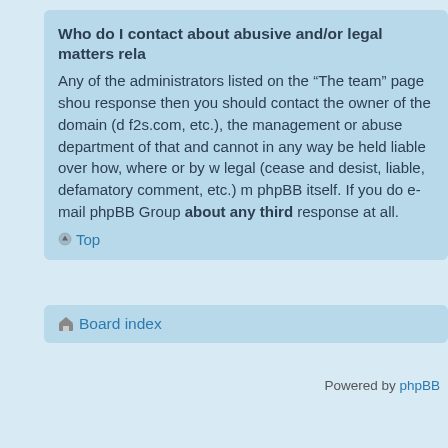Who do I contact about abusive and/or legal matters rela...
Any of the administrators listed on the “The team” page shou... response then you should contact the owner of the domain (... f2s.com, etc.), the management or abuse department of that ... and cannot in any way be held liable over how, where or by w... legal (cease and desist, liable, defamatory comment, etc.) m... phpBB itself. If you do e-mail phpBB Group about any third ... response at all.
Top
Board index
Powered by phpBB